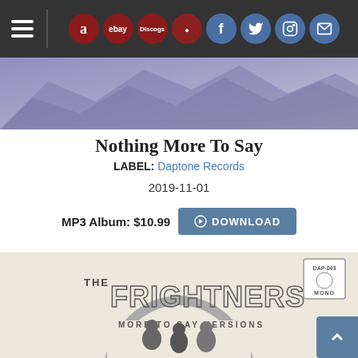[Figure (screenshot): Navigation bar with hamburger menu and store/social icons (Amazon, eBay, Discogs, and social media icons for Facebook, Twitter, Instagram, Email) on dark background]
[Figure (photo): Purple-tinted rocky mountain landscape banner image]
Nothing More To Say
LABEL: Daptone Records
2019-11-01
MP3 Album: $10.99  DOWNLOAD
[Figure (photo): Album cover for The Frightners - More To Say Versions showing three men standing in front of an arched doorway, vintage mono record label style]